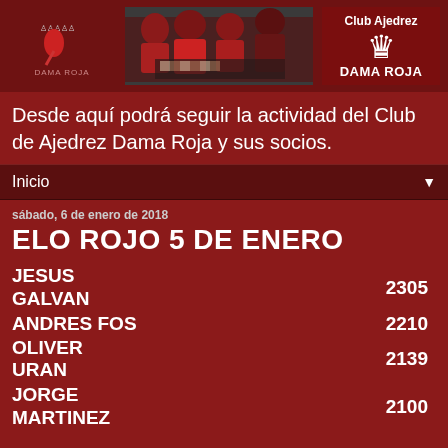[Figure (photo): Header banner with Dama Roja chess club logos and a photo of players in red jackets playing chess]
Desde aquí podrá seguir la actividad del Club de Ajedrez Dama Roja y sus socios.
Inicio
sábado, 6 de enero de 2018
ELO ROJO 5 DE ENERO
| Nombre | ELO |
| --- | --- |
| JESUS GALVAN | 2305 |
| ANDRES FOS | 2210 |
| OLIVER URAN | 2139 |
| JORGE MARTINEZ | 2100 |